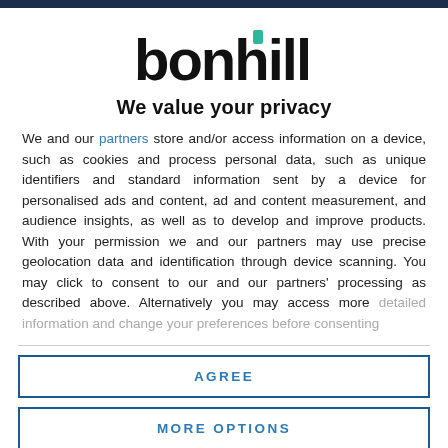[Figure (logo): Bonhill logo: bold black lowercase 'bonhill' text with a small teal/green rectangular accent mark above the letter 'i']
We value your privacy
We and our partners store and/or access information on a device, such as cookies and process personal data, such as unique identifiers and standard information sent by a device for personalised ads and content, ad and content measurement, and audience insights, as well as to develop and improve products. With your permission we and our partners may use precise geolocation data and identification through device scanning. You may click to consent to our and our partners' processing as described above. Alternatively you may access more detailed information and change your preferences before consenting
AGREE
MORE OPTIONS
environment and ideally not discuss any work-